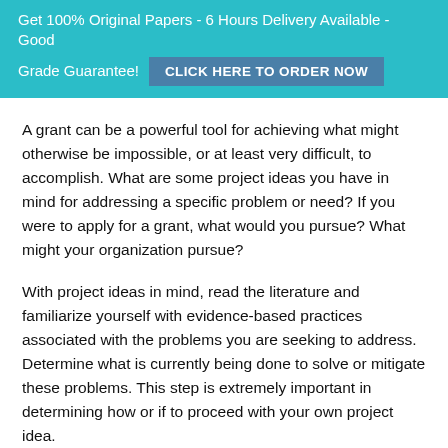Get 100% Original Papers - 6 Hours Delivery Available - Good Grade Guarantee! CLICK HERE TO ORDER NOW
A grant can be a powerful tool for achieving what might otherwise be impossible, or at least very difficult, to accomplish. What are some project ideas you have in mind for addressing a specific problem or need? If you were to apply for a grant, what would you pursue? What might your organization pursue?
With project ideas in mind, read the literature and familiarize yourself with evidence-based practices associated with the problems you are seeking to address. Determine what is currently being done to solve or mitigate these problems. This step is extremely important in determining how or if to proceed with your own project idea.